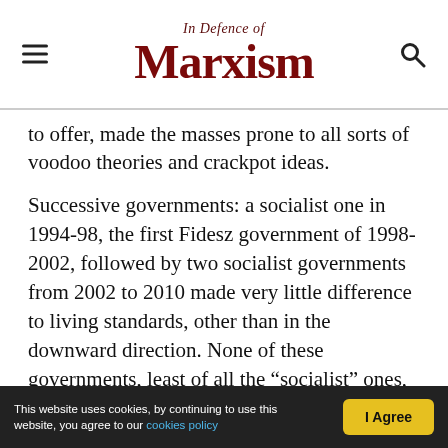In Defence of Marxism
to offer, made the masses prone to all sorts of voodoo theories and crackpot ideas.
Successive governments: a socialist one in 1994-98, the first Fidesz government of 1998-2002, followed by two socialist governments from 2002 to 2010 made very little difference to living standards, other than in the downward direction. None of these governments, least of all the “socialist” ones, were prepared to break with capitalism. It was in fact exactly the opposite. It was the so called socialist governments that cut the most and served their foreign masters most faithfully. None of them tried
This website uses cookies, by continuing to use this website, you agree to our cookies policy  I Agree